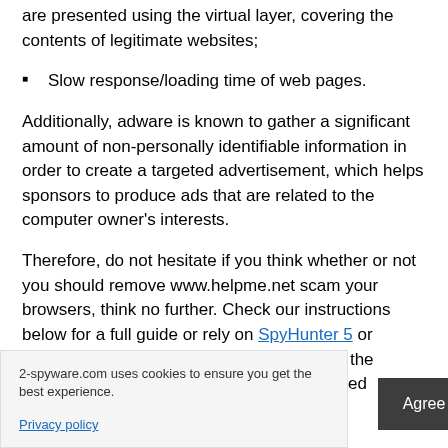are presented using the virtual layer, covering the contents of legitimate websites;
Slow response/loading time of web pages.
Additionally, adware is known to gather a significant amount of non-personally identifiable information in order to create a targeted advertisement, which helps sponsors to produce ads that are related to the computer owner's interests.
Therefore, do not hesitate if you think whether or not you should remove www.helpme.net scam your browsers, think no further. Check our instructions below for a full guide or rely on SpyHunter 5 or Malwarebytes, and then scan the PC using the proper system tools, it will fix all the unwanted
2-spyware.com uses cookies to ensure you get the best experience.
Privacy policy
Agree